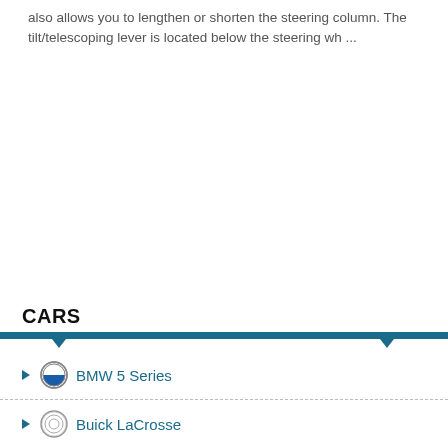also allows you to lengthen or shorten the steering column. The tilt/telescoping lever is located below the steering wh ...
CARS
BMW 5 Series
Buick LaCrosse